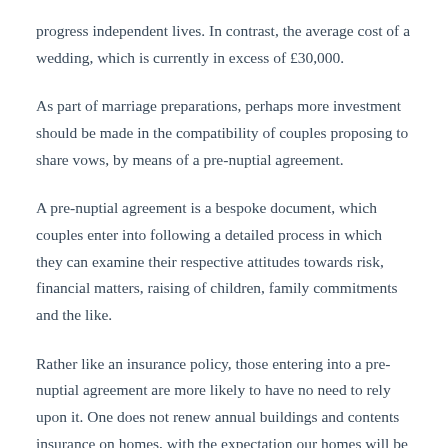progress independent lives. In contrast, the average cost of a wedding, which is currently in excess of £30,000.
As part of marriage preparations, perhaps more investment should be made in the compatibility of couples proposing to share vows, by means of a pre-nuptial agreement.
A pre-nuptial agreement is a bespoke document, which couples enter into following a detailed process in which they can examine their respective attitudes towards risk, financial matters, raising of children, family commitments and the like.
Rather like an insurance policy, those entering into a pre-nuptial agreement are more likely to have no need to rely upon it. One does not renew annual buildings and contents insurance on homes, with the expectation our homes will be subject to fire or